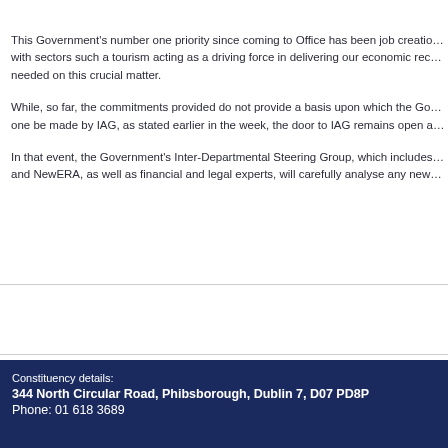This Government's number one priority since coming to Office has been job creation, with sectors such a tourism acting as a driving force in delivering our economic recovery needed on this crucial matter.
While, so far, the commitments provided do not provide a basis upon which the Government can recommend that one be made by IAG, as stated earlier in the week, the door to IAG remains open and In that event, the Government's Inter-Departmental Steering Group, which includes and NewERA, as well as financial and legal experts, will carefully analyse any new
Constituency details:
344 North Circular Road, Phibsborough, Dublin 7, D07 PD8P
Phone: 01 618 3689